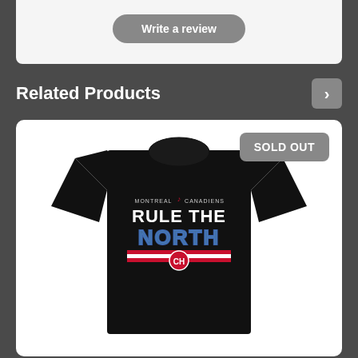Write a review
Related Products
[Figure (photo): Black Montreal Canadiens 'Rule The North' t-shirt product image with SOLD OUT badge]